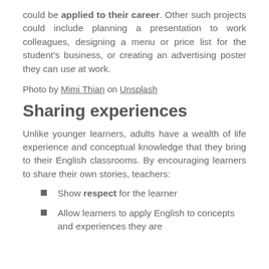could be applied to their career. Other such projects could include planning a presentation to work colleagues, designing a menu or price list for the student's business, or creating an advertising poster they can use at work.
Photo by Mimi Thian on Unsplash
Sharing experiences
Unlike younger learners, adults have a wealth of life experience and conceptual knowledge that they bring to their English classrooms. By encouraging learners to share their own stories, teachers:
Show respect for the learner
Allow learners to apply English to concepts and experiences they are